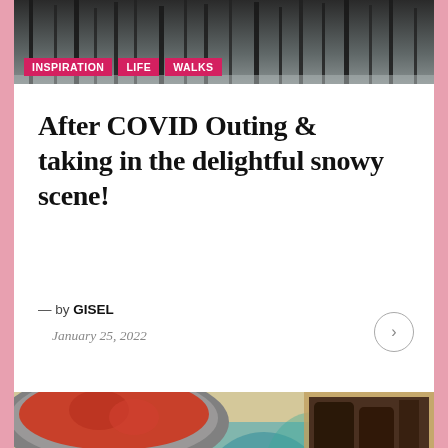[Figure (photo): Snowy winter forest scene with bare trees in black and white/grey tones]
INSPIRATION
LIFE
WALKS
After COVID Outing & taking in the delightful snowy scene!
— by GISEL
January 25, 2022
[Figure (photo): Food spread showing bowls of noodles, tomato-based stew, grilled meat/ribs on foil, and a plate with pasta or salad on a decorated tablecloth]